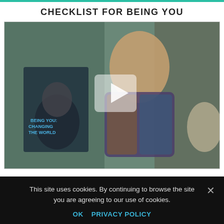CHECKLIST FOR BEING YOU
[Figure (photo): A man in a colorful patterned shirt speaking or presenting at an event, smiling, with a woman seated in the background and a book/banner visible on the left. A video play button overlay is shown in the center of the image.]
WITH DR. DAIN HEER
WHAT DOES IT MEAN TO BE YOU?
This site uses cookies. By continuing to browse the site you are agreeing to our use of cookies.
OK   PRIVACY POLICY